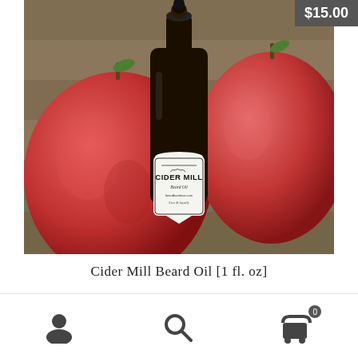$15.00
[Figure (photo): Product photo of Cider Mill Beard Oil in a dark glass dropper bottle with two red apples in the background on a wooden surface. The bottle label reads 'CIDER MILL Beard Oil beardbarelove.com' with a shield logo.]
Cider Mill Beard Oil [1 fl. oz]
Add to cart